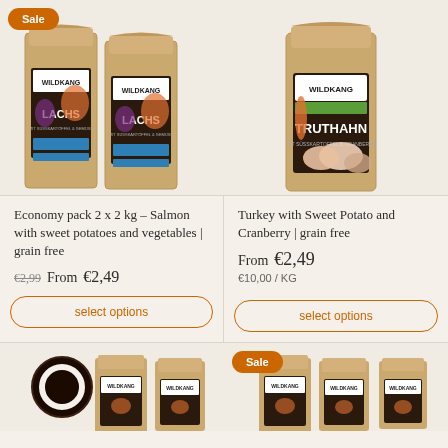[Figure (photo): Two kraft paper dog food bags labeled LACHS (salmon) with sale badge, shown on beige background]
[Figure (photo): Single kraft paper dog food bag labeled TRUTHAHN (turkey) on beige background]
Economy pack 2 x 2 kg – Salmon with sweet potatoes and vegetables | grain free
€2,99  From €2,49
select options
Turkey with Sweet Potato and Cranberry | grain free
From €2,49
€10,00 / KG
select options
[Figure (photo): Two dark kraft paper dog food bags with circular logo on beige background]
[Figure (photo): Two kraft paper dog food bags with sale badge on beige background]